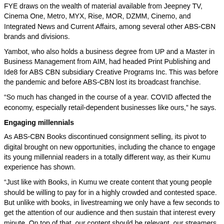FYE draws on the wealth of material available from Jeepney TV, Cinema One, Metro, MYX, Rise, MOR, DZMM, Cinemo, and Integrated News and Current Affairs, among several other ABS-CBN brands and divisions.
Yambot, who also holds a business degree from UP and a Master in Business Management from AIM, had headed Print Publishing and Ide8 for ABS CBN subsidiary Creative Programs Inc. This was before the pandemic and before ABS-CBN lost its broadcast franchise.
“So much has changed in the course of a year. COVID affected the economy, especially retail-dependent businesses like ours,” he says.
Engaging millennials
As ABS-CBN Books discontinued consignment selling, its pivot to digital brought on new opportunities, including the chance to engage its young millennial readers in a totally different way, as their Kumu experience has shown.
“Just like with Books, in Kumu we create content that young people should be willing to pay for in a highly crowded and contested space. But unlike with books, in livestreaming we only have a few seconds to get the attention of our audience and then sustain that interest every minute. On top of that, our content should be relevant, our streamers should also be authentic and likable.